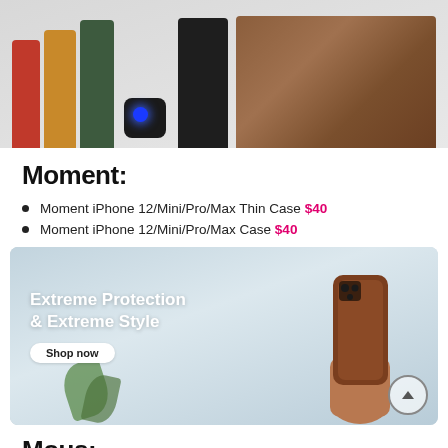[Figure (photo): Product photo showing a row of iPhone cases in various colors (red, tan, dark green) alongside a small black camera cube with blue lens, a black folio case, and a walnut wood case against a light gray background.]
Moment:
Moment iPhone 12/Mini/Pro/Max Thin Case $40
Moment iPhone 12/Mini/Pro/Max Case $40
[Figure (photo): Banner image showing a hand holding a brown leather iPhone case against a blurred outdoor background with plants. Text overlay reads 'Extreme Protection & Extreme Style' with a 'Shop now' button. A scroll-to-top arrow button appears in the bottom right.]
Mous: